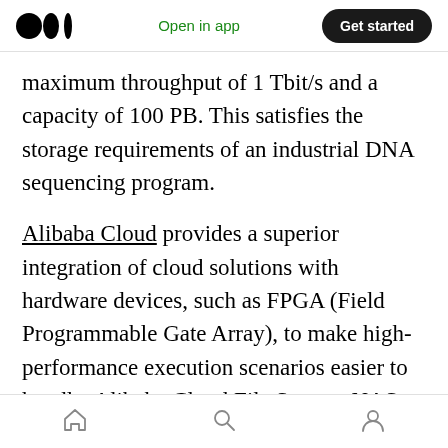Open in app | Get started
maximum throughput of 1 Tbit/s and a capacity of 100 PB. This satisfies the storage requirements of an industrial DNA sequencing program.
Alibaba Cloud provides a superior integration of cloud solutions with hardware devices, such as FPGA (Field Programmable Gate Array), to make high-performance execution scenarios easier to handle. Alibaba Cloud File Storage NAS provides a correct balance between performance and cost scenarios for use-cases like these.
DevOps and Alibaba Cloud File Storage